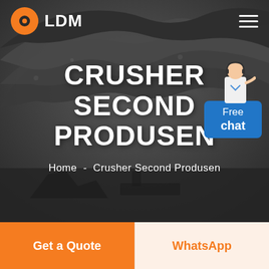[Figure (screenshot): Website screenshot of LDM company page for Crusher Second Produsen. Dark hero image with rocky/coal mining background, LDM logo in top left with orange circle icon, hamburger menu top right, Free chat widget on right side with a customer service agent illustration and blue chat box, main heading 'CRUSHER SECOND PRODUSEN' in bold white uppercase, breadcrumb navigation 'Home - Crusher Second Produsen', and two bottom buttons: orange 'Get a Quote' and light 'WhatsApp'.]
CRUSHER SECOND PRODUSEN
Home - Crusher Second Produsen